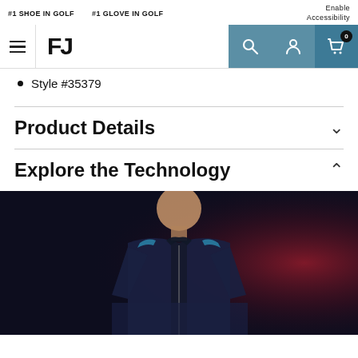#1 SHOE IN GOLF   #1 GLOVE IN GOLF   Enable Accessibility
[Figure (screenshot): FootJoy (FJ) website navigation bar with hamburger menu, FJ logo, search icon, account icon, and cart icon with badge showing 0]
Style #35379
Product Details
Explore the Technology
[Figure (photo): Man wearing a dark navy/black golf jacket with blue accents and zipper, photographed against a dark background with dramatic red/pink lighting on the right side]